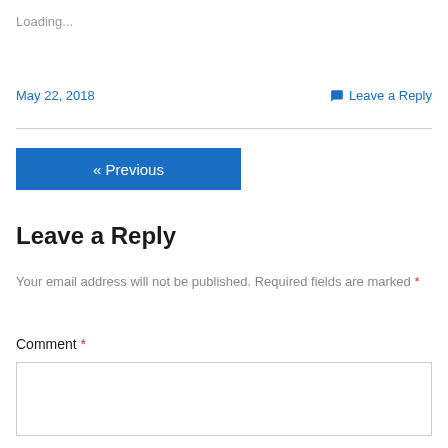Loading...
May 22, 2018
Leave a Reply
« Previous
Leave a Reply
Your email address will not be published. Required fields are marked *
Comment *